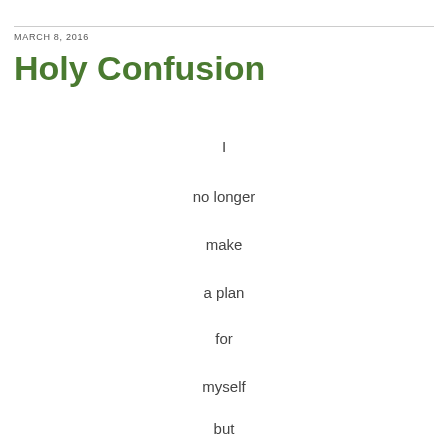MARCH 8, 2016
Holy Confusion
I

no longer

make

a plan

for

myself

but

respond to the